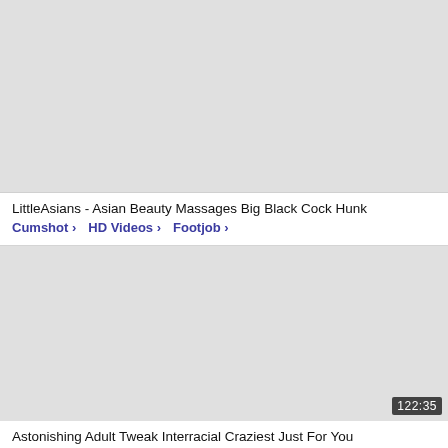[Figure (screenshot): Video thumbnail placeholder, light gray background, no image]
LittleAsians - Asian Beauty Massages Big Black Cock Hunk
Cumshot › HD Videos › Footjob ›
[Figure (screenshot): Video thumbnail placeholder, light gray background, duration badge showing 122:35]
Astonishing Adult Tweak Interracial Craziest Just For You